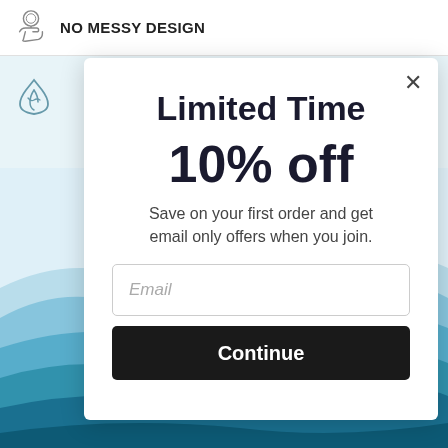[Figure (logo): Hand holding coin icon with NO MESSY DESIGN text in header bar]
[Figure (illustration): Leaf/water drop icon on left sidebar]
[Figure (illustration): Layered teal wave illustration background]
Limited Time
10% off
Save on your first order and get email only offers when you join.
Email
Continue